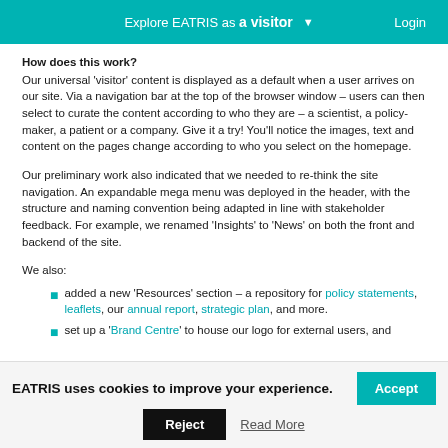Explore EATRIS as a visitor  ▾  Login
How does this work?
Our universal 'visitor' content is displayed as a default when a user arrives on our site. Via a navigation bar at the top of the browser window – users can then select to curate the content according to who they are – a scientist, a policy-maker, a patient or a company. Give it a try! You'll notice the images, text and content on the pages change according to who you select on the homepage.
Our preliminary work also indicated that we needed to re-think the site navigation. An expandable mega menu was deployed in the header, with the structure and naming convention being adapted in line with stakeholder feedback. For example, we renamed 'Insights' to 'News' on both the front and backend of the site.
We also:
added a new 'Resources' section – a repository for policy statements, leaflets, our annual report, strategic plan, and more.
set up a 'Brand Centre' to house our logo for external users, and
EATRIS uses cookies to improve your experience.
Accept
Reject
Read More